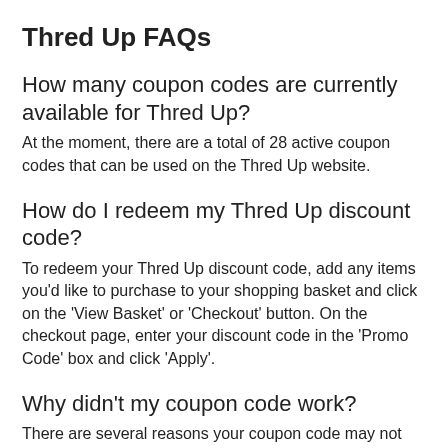Thred Up FAQs
How many coupon codes are currently available for Thred Up?
At the moment, there are a total of 28 active coupon codes that can be used on the Thred Up website.
How do I redeem my Thred Up discount code?
To redeem your Thred Up discount code, add any items you'd like to purchase to your shopping basket and click on the 'View Basket' or 'Checkout' button. On the checkout page, enter your discount code in the 'Promo Code' box and click 'Apply'.
Why didn't my coupon code work?
There are several reasons your coupon code may not work: